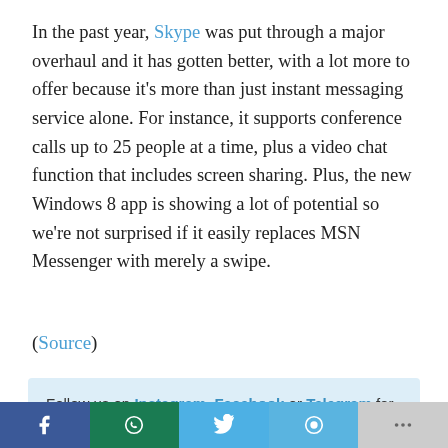In the past year, Skype was put through a major overhaul and it has gotten better, with a lot more to offer because it's more than just instant messaging service alone. For instance, it supports conference calls up to 25 people at a time, plus a video chat function that includes screen sharing. Plus, the new Windows 8 app is showing a lot of potential so we're not surprised if it easily replaces MSN Messenger with merely a swipe.
(Source)
Follow us on Instagram, Facebook or Telegram for more updates and breaking news.
[Figure (other): Social sharing buttons for Facebook, WhatsApp, Twitter, Google+, and more]